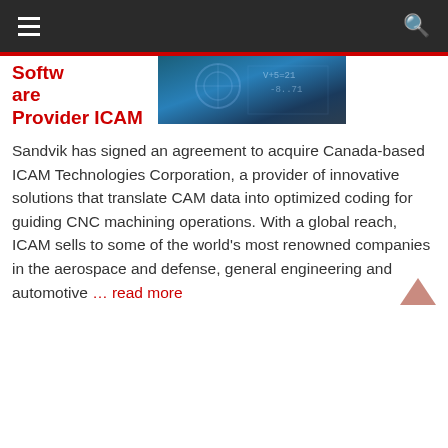Navigation bar with hamburger menu and search icon
Software Provider ICAM
[Figure (photo): Close-up photo of CNC machining equipment or industrial hardware with blue tint and numerical overlays]
Sandvik has signed an agreement to acquire Canada-based ICAM Technologies Corporation, a provider of innovative solutions that translate CAM data into optimized coding for guiding CNC machining operations. With a global reach, ICAM sells to some of the world's most renowned companies in the aerospace and defense, general engineering and automotive ... read more